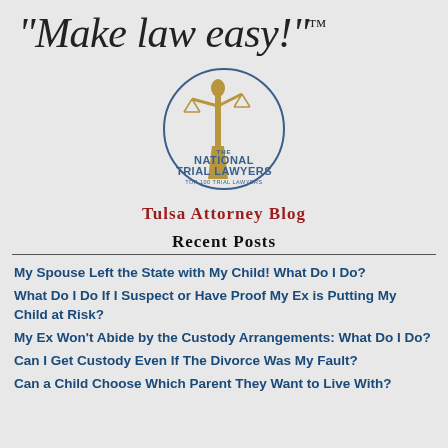"Make law easy!"™
[Figure (logo): The National Trial Lawyers – Top 100 Trial Lawyers logo with a golden Lady Justice figure and circular blue text border]
Tulsa Attorney Blog
Recent Posts
My Spouse Left the State with My Child! What Do I Do?
What Do I Do If I Suspect or Have Proof My Ex is Putting My Child at Risk?
My Ex Won't Abide by the Custody Arrangements: What Do I Do?
Can I Get Custody Even If The Divorce Was My Fault?
Can a Child Choose Which Parent They Want to Live With?